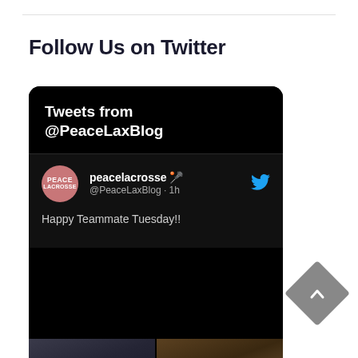Follow Us on Twitter
[Figure (screenshot): Twitter widget embed showing tweets from @PeaceLaxBlog. Header reads 'Tweets from @PeaceLaxBlog'. A tweet from peacelacrosse @PeaceLaxBlog · 1h says 'Happy Teammate Tuesday!!' with a 2x2 grid of lacrosse sports photos — green team on field, red team huddle with #57, and two more partially visible photos below.]